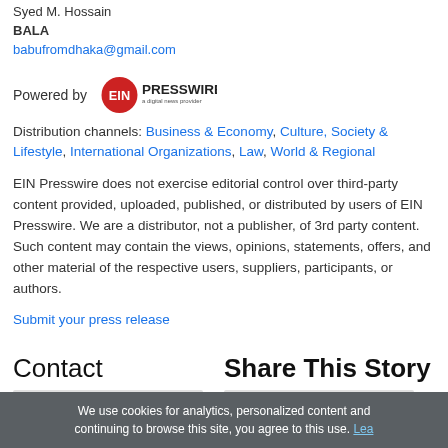Syed M. Hossain
BALA
babufromdhaka@gmail.com
Powered by EIN PRESSWIRE
Distribution channels: Business & Economy, Culture, Society & Lifestyle, International Organizations, Law, World & Regional
EIN Presswire does not exercise editorial control over third-party content provided, uploaded, published, or distributed by users of EIN Presswire. We are a distributor, not a publisher, of 3rd party content. Such content may contain the views, opinions, statements, offers, and other material of the respective users, suppliers, participants, or authors.
Submit your press release
Contact
Share This Story
We use cookies for analytics, personalized content and continuing to browse this site, you agree to this use. Lea